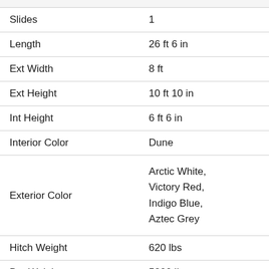| Attribute | Value |
| --- | --- |
| Slides | 1 |
| Length | 26 ft 6 in |
| Ext Width | 8 ft |
| Ext Height | 10 ft 10 in |
| Int Height | 6 ft 6 in |
| Interior Color | Dune |
| Exterior Color | Arctic White, Victory Red, Indigo Blue, Aztec Grey |
| Hitch Weight | 620 lbs |
| Dry Weight | 5200 lbs |
| Cargo Weight | 2085 lbs |
| Fresh Water Capacity | 45 gals |
| Grey Water Capacity | 32 gals |